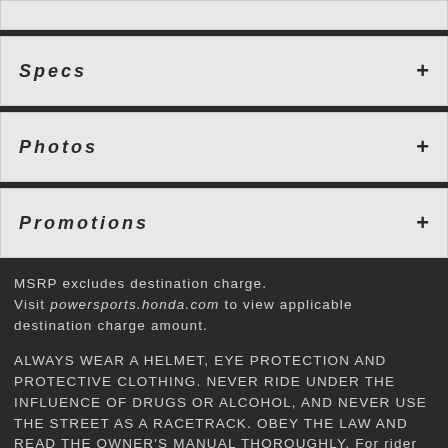Specs
Photos
Promotions
MSRP excludes destination charge. Visit powersports.honda.com to view applicable destination charge amount.
ALWAYS WEAR A HELMET, EYE PROTECTION AND PROTECTIVE CLOTHING. NEVER RIDE UNDER THE INFLUENCE OF DRUGS OR ALCOHOL, AND NEVER USE THE STREET AS A RACETRACK. OBEY THE LAW AND READ THE OWNER’S MANUAL THOROUGHLY. For rider training information or to locate a rider training course near you, call the Motorcycle Safety Foundation at 1-800-